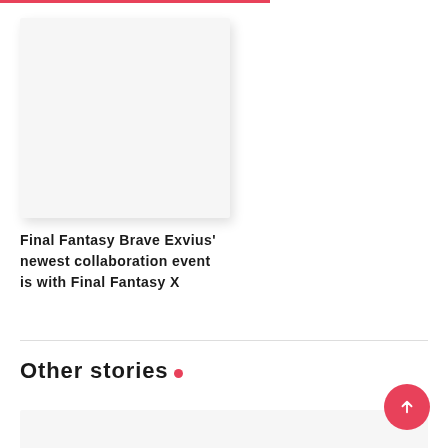[Figure (photo): Blank light gray image placeholder card with drop shadow]
Final Fantasy Brave Exvius' newest collaboration event is with Final Fantasy X
Other stories •
[Figure (photo): Partial bottom card image placeholder]